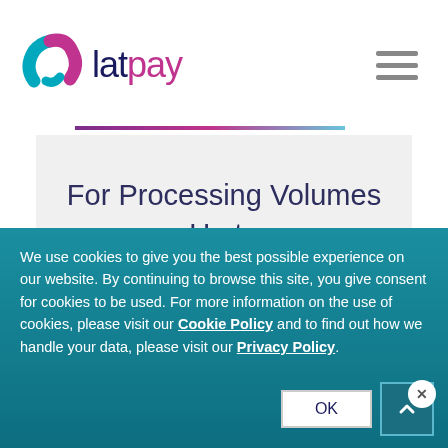[Figure (logo): Latpay logo with stylized swirl icon in magenta and teal, and text 'latpay' with 'lat' in dark navy and 'pay' in magenta]
For Processing Volumes Up to €50,000 per month
We use cookies to give you the best possible experience on our website. By continuing to browse this site, you give consent for cookies to be used. For more information on the use of cookies, please visit our Cookie Policy and to find out how we handle your data, please visit our Privacy Policy.